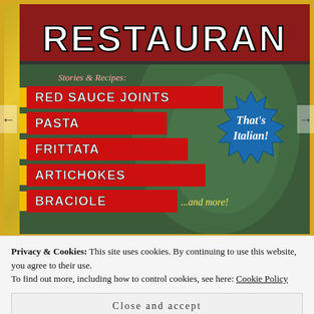[Figure (illustration): Book cover for an Italian-American restaurant cookbook. Title 'RESTAURANT' in large letters at top on red banner. Subtitle 'Stories & Recipes:' in script. Red menu bars list: RED SAUCE JOINTS, PASTA, FRITTATA, ARTICHOKES, BRACIOLE ...and more! Blue starburst badge reads 'That's Italian!' Background shows vintage diner imagery in green tones with yellow border.]
Privacy & Cookies: This site uses cookies. By continuing to use this website, you agree to their use.
To find out more, including how to control cookies, see here: Cookie Policy
Close and accept